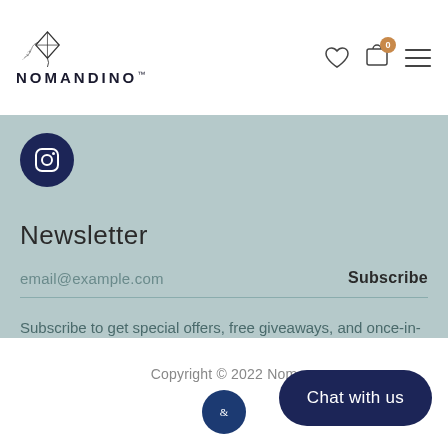[Figure (logo): Nomandino logo with kite graphic above the text 'NOMANDINO™']
[Figure (illustration): Navigation icons: heart/wishlist icon, shopping cart icon with 0 badge, hamburger menu icon]
[Figure (illustration): Instagram button — dark navy circle with Instagram icon]
Newsletter
email@example.com
Subscribe
Subscribe to get special offers, free giveaways, and once-in-a-lifetime deals.
Copyright © 2022 Nom
[Figure (illustration): Small decorative dark blue circle with ampersand symbol]
[Figure (illustration): Chat with us button — dark navy rounded pill button]